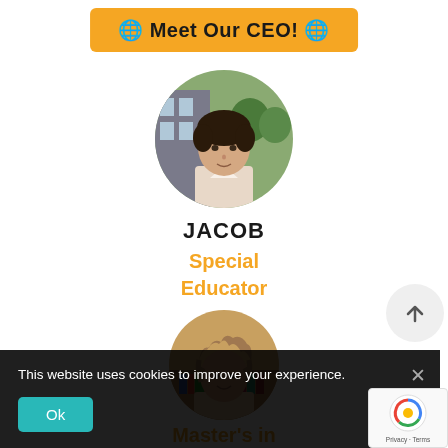🌐 Meet Our CEO! 🌐
[Figure (photo): Circular profile photo of Jacob, a man with dark curly hair outdoors in front of a building]
JACOB
Special Educator
[Figure (photo): Circular profile photo of second person with curly/wavy hair]
Master's in
This website uses cookies to improve your experience.
Ok